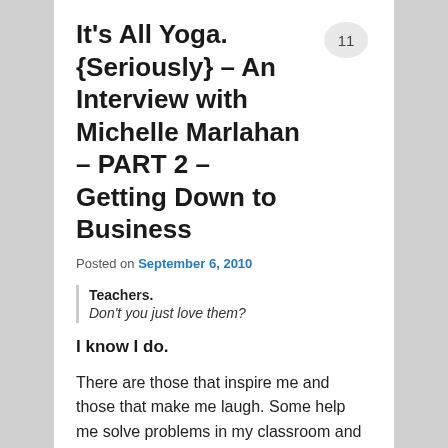It's All Yoga. {Seriously} – An Interview with Michelle Marlahan – PART 2 – Getting Down to Business
Posted on September 6, 2010
Teachers.
Don't you just love them?
I know I do.
There are those that inspire me and those that make me laugh. Some help me solve problems in my classroom and others that help me solve problems in my life.
I'd like to introduce you to some of my favorite